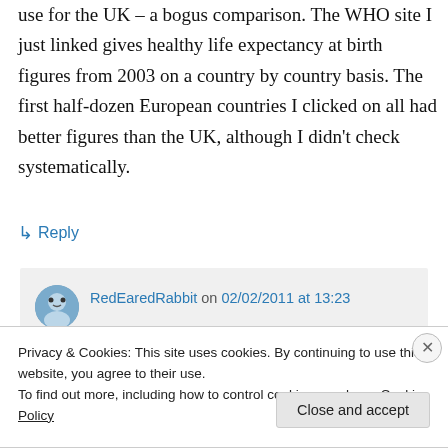use for the UK – a bogus comparison. The WHO site I just linked gives healthy life expectancy at birth figures from 2003 on a country by country basis. The first half-dozen European countries I clicked on all had better figures than the UK, although I didn't check systematically.
↳ Reply
RedEaredRabbit on 02/02/2011 at 13:23
Privacy & Cookies: This site uses cookies. By continuing to use this website, you agree to their use.
To find out more, including how to control cookies, see here: Cookie Policy
Close and accept